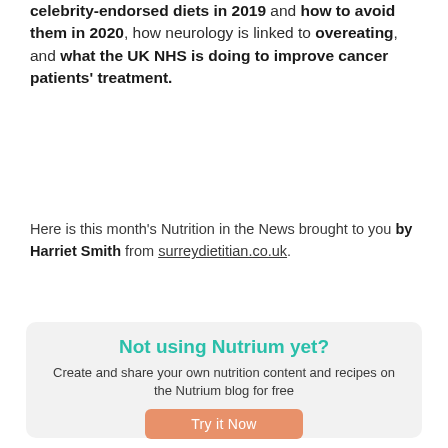celebrity-endorsed diets in 2019 and how to avoid them in 2020, how neurology is linked to overeating, and what the UK NHS is doing to improve cancer patients' treatment.
Here is this month's Nutrition in the News brought to you by Harriet Smith from surreydietitian.co.uk.
[Figure (infographic): Promotional box with light grey background. Title: 'Not using Nutrium yet?' in teal/green bold font. Body text: 'Create and share your own nutrition content and recipes on the Nutrium blog for free'. Orange button labeled 'Try it Now'.]